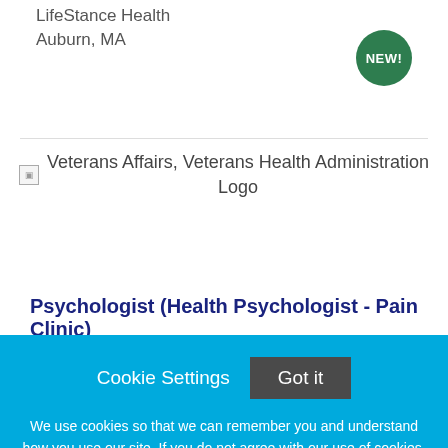LifeStance Health
Auburn, MA
[Figure (logo): Veterans Affairs, Veterans Health Administration Logo placeholder image]
Veterans Affairs, Veterans Health Administration Logo
Psychologist (Health Psychologist - Pain Clinic)
Cookie Settings
Got it
We use cookies so that we can remember you and understand how you use our site. If you do not agree with our use of cookies, please change the current settings found in our Cookie Policy. Otherwise, you agree to the use of the cookies as they are currently set.